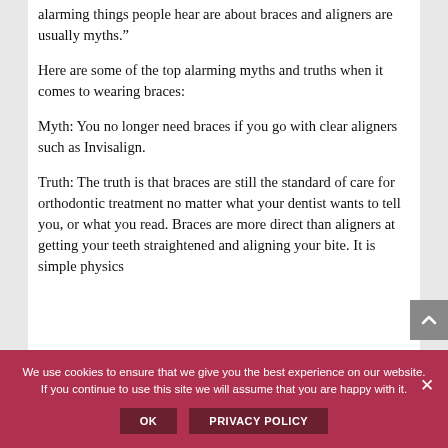alarming things people hear are about braces and aligners are usually myths.”
Here are some of the top alarming myths and truths when it comes to wearing braces:
Myth: You no longer need braces if you go with clear aligners such as Invisalign.
Truth: The truth is that braces are still the standard of care for orthodontic treatment no matter what your dentist wants to tell you, or what you read. Braces are more direct than aligners at getting your teeth straightened and aligning your bite. It is simple physics
We use cookies to ensure that we give you the best experience on our website. If you continue to use this site we will assume that you are happy with it.
OK
PRIVACY POLICY